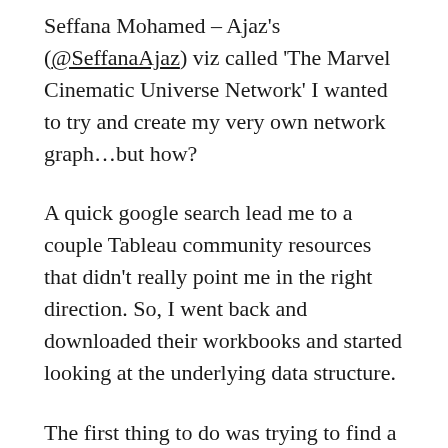Seffana Mohamed – Ajaz's (@SeffanaAjaz) viz called 'The Marvel Cinematic Universe Network' I wanted to try and create my very own network graph…but how?
A quick google search lead me to a couple Tableau community resources that didn't really point me in the right direction. So, I went back and downloaded their workbooks and started looking at the underlying data structure.
The first thing to do was trying to find a data set that would be able to show a network of relationships – It just so happened that the #MakeoverMonday 2019 Week 27 data was The Game of Thrones Deaths. This data turned out to be a good starting point since it had the Killer's name and the Victim's name along with additional information, such as: the location of the death, the killer's house, season & episode of the death,